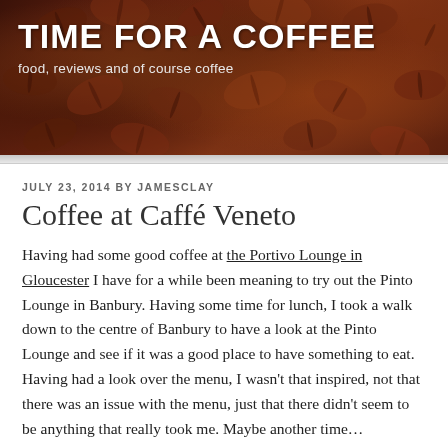TIME FOR A COFFEE
food, reviews and of course coffee
JULY 23, 2014 BY JAMESCLAY
Coffee at Caffé Veneto
Having had some good coffee at the Portivo Lounge in Gloucester I have for a while been meaning to try out the Pinto Lounge in Banbury. Having some time for lunch, I took a walk down to the centre of Banbury to have a look at the Pinto Lounge and see if it was a good place to have something to eat. Having had a look over the menu, I wasn't that inspired, not that there was an issue with the menu, just that there didn't seem to be anything that really took me. Maybe another time…